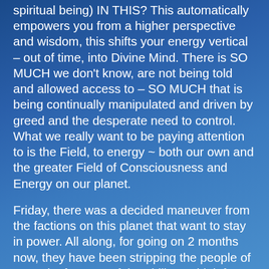spiritual being) IN THIS? This automatically empowers you from a higher perspective and wisdom, this shifts your energy vertical – out of time, into Divine Mind. There is SO MUCH we don't know, are not being told and allowed access to – SO MUCH that is being continually manipulated and driven by greed and the desperate need to control. What we really want to be paying attention to is the Field, to energy ~ both our own and the greater Field of Consciousness and Energy on our planet.
Friday, there was a decided maneuver from the factions on this planet that want to stay in power. All along, for going on 2 months now, they have been stripping the people of control, of power, of the ability to think for themselves and to make...